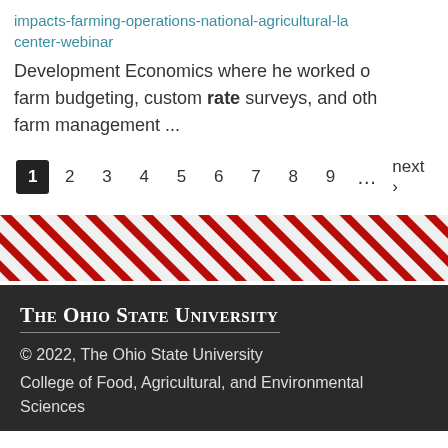impacts-farming-operations-national-agricultural-la center-webinar
Development Economics where he worked o farm budgeting, custom rate surveys, and oth farm management ...
1 2 3 4 5 6 7 8 9 … next ›
[Figure (other): Diagonal red and white striped decorative banner]
THE OHIO STATE UNIVERSITY © 2022, The Ohio State University College of Food, Agricultural, and Environmental Sciences